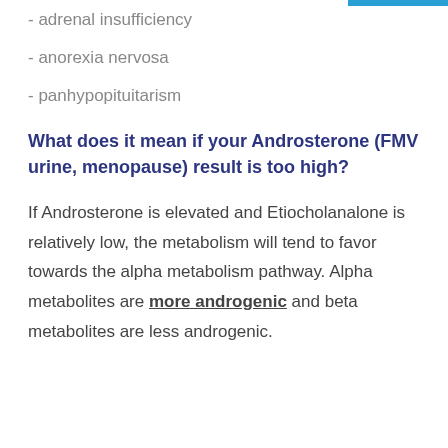- adrenal insufficiency
- anorexia nervosa
- panhypopituitarism
What does it mean if your Androsterone (FMV urine, menopause) result is too high?
If Androsterone is elevated and Etiocholanalone is relatively low, the metabolism will tend to favor towards the alpha metabolism pathway. Alpha metabolites are more androgenic and beta metabolites are less androgenic.